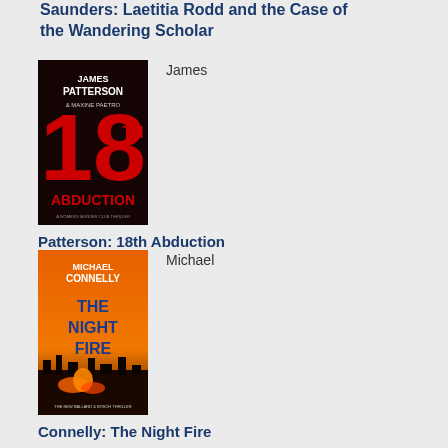Saunders: Laetitia Rodd and the Case of the Wandering Scholar
[Figure (illustration): Book cover of James Patterson and Maxine Paetro '18th Abduction' - dark background with red large '18' text and 'ABDUCTION' below, white author names at top]
James
Patterson: 18th Abduction
[Figure (illustration): Book cover of Michael Connelly 'The Night Fire' - orange/fire sky background with city silhouette, white and blue text]
Michael
Connelly: The Night Fire